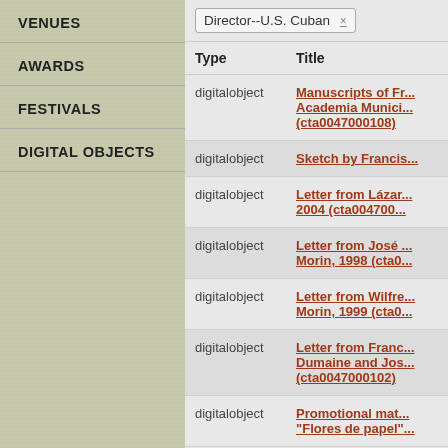VENUES
AWARDS
FESTIVALS
DIGITAL OBJECTS
Director--U.S. Cuban ×
| Type | Title |
| --- | --- |
| digitalobject | Manuscripts of Francisco Academia Munici... (cta0047000108) |
| digitalobject | Sketch by Francis... |
| digitalobject | Letter from Lázar... 2004 (cta004700... |
| digitalobject | Letter from José ... Morin, 1998 (cta0... |
| digitalobject | Letter from Wilfre... Morin, 1999 (cta0... |
| digitalobject | Letter from Franc... Dumaine and Jos... (cta0047000102) |
| digitalobject | Promotional mat... "Flores de papel"... |